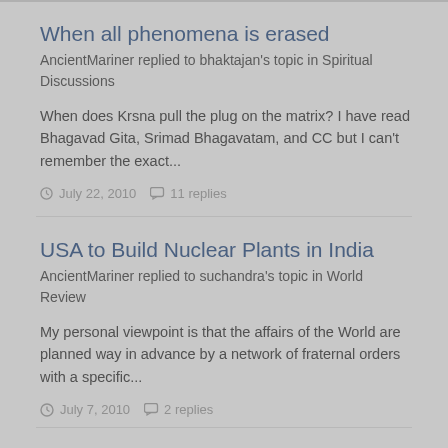When all phenomena is erased
AncientMariner replied to bhaktajan's topic in Spiritual Discussions
When does Krsna pull the plug on the matrix? I have read Bhagavad Gita, Srimad Bhagavatam, and CC but I can't remember the exact...
July 22, 2010   11 replies
USA to Build Nuclear Plants in India
AncientMariner replied to suchandra's topic in World Review
My personal viewpoint is that the affairs of the World are planned way in advance by a network of fraternal orders with a specific...
July 7, 2010   2 replies
What is real?
AncientMariner replied to Gauracandra's topic in Most Interesting Threads